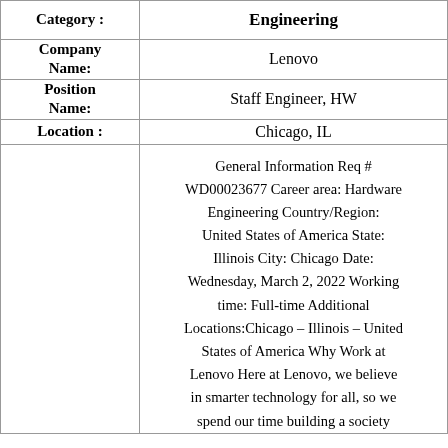| Category | Value |
| --- | --- |
| Category : | Engineering |
| Company Name: | Lenovo |
| Position Name: | Staff Engineer, HW |
| Location : | Chicago, IL |
|  | General Information Req # WD00023677 Career area: Hardware Engineering Country/Region: United States of America State: Illinois City: Chicago Date: Wednesday, March 2, 2022 Working time: Full-time Additional Locations:Chicago – Illinois – United States of America Why Work at Lenovo Here at Lenovo, we believe in smarter technology for all, so we spend our time building a society |